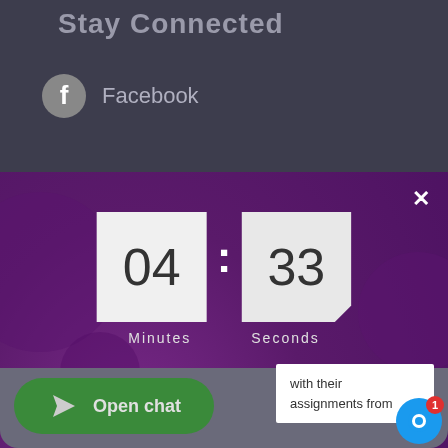Stay Connected
Facebook
[Figure (screenshot): Popup modal on purple background with countdown timer showing 04:33 (Minutes:Seconds), discount offer text, email input, and coupon button]
WAIT! GET 50% OFF
Enter your email and get a discount coupon. The offer will disappear in...
( Minimum order of $49 )
Powered by poptin
with their assignments from
Open chat